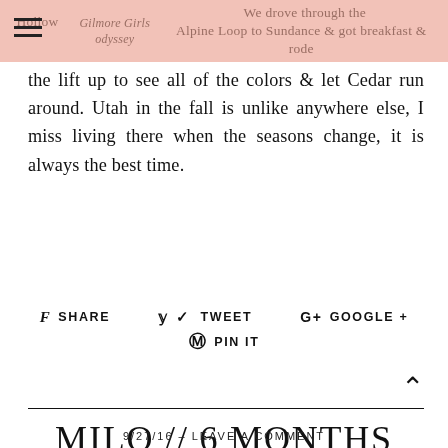Hollow Gilmore Girls odyssey We drove through the Alpine Loop to Sundance & got breakfast & rode
the lift up to see all of the colors & let Cedar run around. Utah in the fall is unlike anywhere else, I miss living there when the seasons change, it is always the best time.
f SHARE   y TWEET   G+ GOOGLE +   @ PIN IT
MILO // 6 MONTHS
9/27/16 – LEAVE A COMMENT